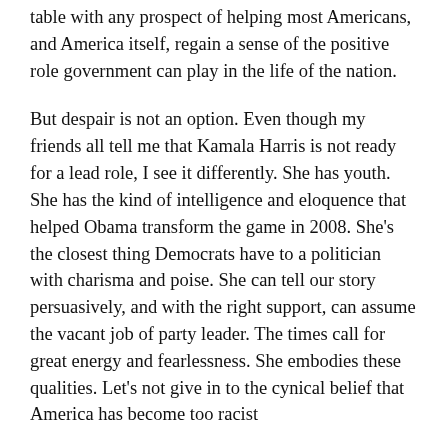table with any prospect of helping most Americans, and America itself, regain a sense of the positive role government can play in the life of the nation.
But despair is not an option. Even though my friends all tell me that Kamala Harris is not ready for a lead role, I see it differently. She has youth. She has the kind of intelligence and eloquence that helped Obama transform the game in 2008. She's the closest thing Democrats have to a politician with charisma and poise. She can tell our story persuasively, and with the right support, can assume the vacant job of party leader. The times call for great energy and fearlessness. She embodies these qualities. Let's not give in to the cynical belief that America has become too racist